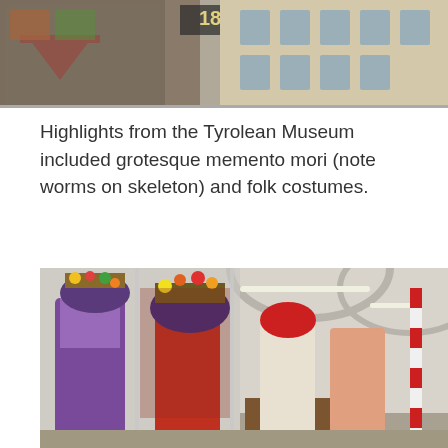[Figure (photo): Top portion of a photo showing a building exterior with decorative facade featuring red and other colored elements, and a European-style building in the background]
Highlights from the Tyrolean Museum included grotesque memento mori (note worms on skeleton) and folk costumes.
[Figure (photo): Interior of the Tyrolean Museum showing mannequins dressed in elaborate Tyrolean folk costumes displayed in glass cases, with an arched ceiling corridor visible in the background]